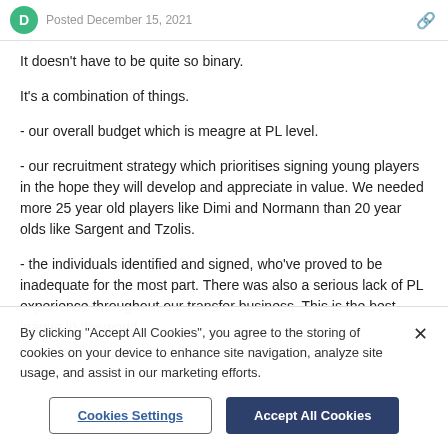Posted December 15, 2021
It doesn't have to be quite so binary.
It's a combination of things.
- our overall budget which is meagre at PL level.
- our recruitment strategy which prioritises signing young players in the hope they will develop and appreciate in value. We needed more 25 year old players like Dimi and Normann than 20 year olds like Sargent and Tzolis.
- the individuals identified and signed, who've proved to be inadequate for the most part. There was also a serious lack of PL experience throughout our transfer business. This is the best league in the world
By clicking "Accept All Cookies", you agree to the storing of cookies on your device to enhance site navigation, analyze site usage, and assist in our marketing efforts.